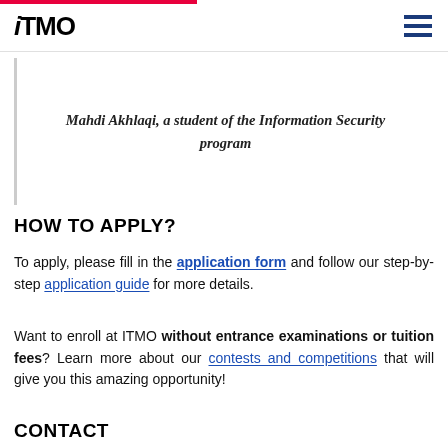ITMO
Mahdi Akhlaqi, a student of the Information Security program
HOW TO APPLY?
To apply, please fill in the application form and follow our step-by-step application guide for more details.
Want to enroll at ITMO without entrance examinations or tuition fees? Learn more about our contests and competitions that will give you this amazing opportunity!
CONTACT